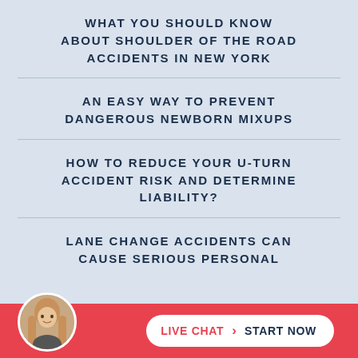WHAT YOU SHOULD KNOW ABOUT SHOULDER OF THE ROAD ACCIDENTS IN NEW YORK
AN EASY WAY TO PREVENT DANGEROUS NEWBORN MIXUPS
HOW TO REDUCE YOUR U-TURN ACCIDENT RISK AND DETERMINE LIABILITY?
LANE CHANGE ACCIDENTS CAN CAUSE SERIOUS PERSONAL
[Figure (illustration): Live chat widget at bottom of page with a circular avatar photo of a woman with long blonde hair, a red footer bar, and a white pill-shaped button reading LIVE CHAT > START NOW]